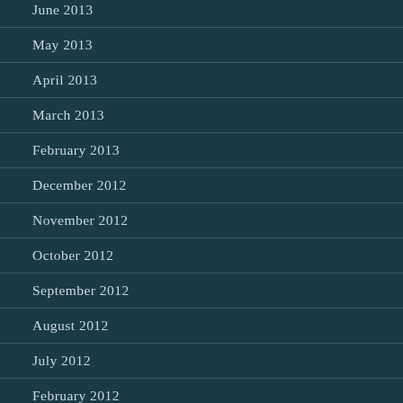June 2013
May 2013
April 2013
March 2013
February 2013
December 2012
November 2012
October 2012
September 2012
August 2012
July 2012
February 2012